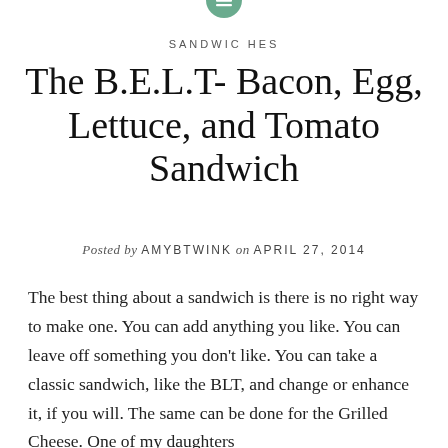[Figure (logo): Green circle icon with horizontal lines (menu/list icon) at top center]
SANDWICHES
The B.E.L.T- Bacon, Egg, Lettuce, and Tomato Sandwich
Posted by AMYBTWINK on APRIL 27, 2014
The best thing about a sandwich is there is no right way to make one. You can add anything you like. You can leave off something you don't like. You can take a classic sandwich, like the BLT, and change or enhance it, if you will. The same can be done for the Grilled Cheese. One of my daughters